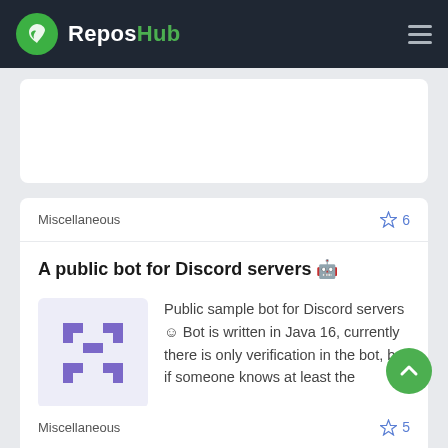ReposHub
Miscellaneous
A public bot for Discord servers 🤖
Public sample bot for Discord servers 😊 Bot is written in Java 16, currently there is only verification in the bot, but if someone knows at least the
Miscellaneous